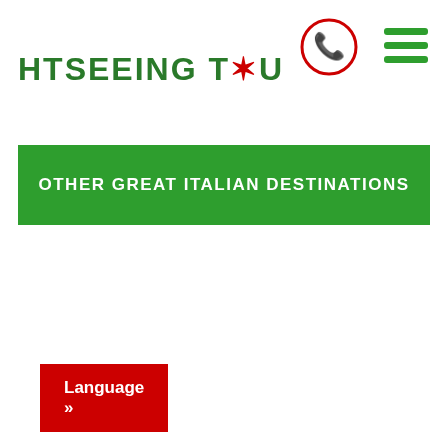[Figure (logo): HTSEEING TOU logo in green bold text with a red sun/star replacing the 'O' in 'TOU', with a red phone icon and green hamburger menu icon in the top right]
OTHER GREAT ITALIAN DESTINATIONS
Language »